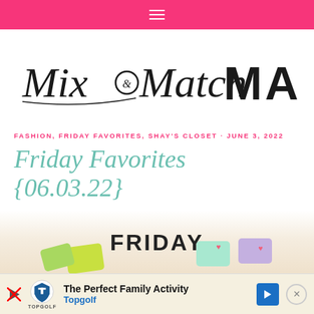Navigation bar with hamburger menu
[Figure (logo): Mix and Match Mama blog logo — script font 'Mix&Match' with ampersand in circle, bold block letters 'MAMA']
FASHION, FRIDAY FAVORITES, SHAY'S CLOSET · JUNE 3, 2022
Friday Favorites {06.03.22}
[Figure (photo): Partial view of Friday Favorites blog post header image showing colorful wallet/card holder accessories with bold 'FRIDAY' text]
[Figure (infographic): Advertisement banner: Topgolf — The Perfect Family Activity]